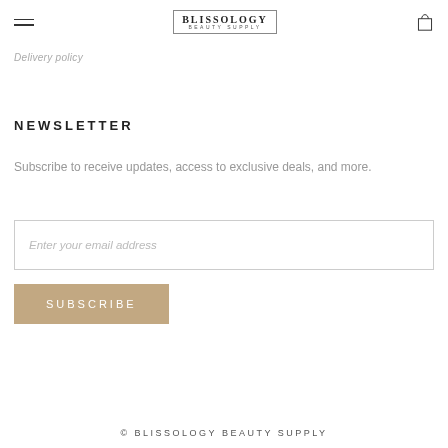BLISSOLOGY BEAUTY SUPPLY
Delivery policy
NEWSLETTER
Subscribe to receive updates, access to exclusive deals, and more.
Enter your email address
SUBSCRIBE
© BLISSOLOGY BEAUTY SUPPLY